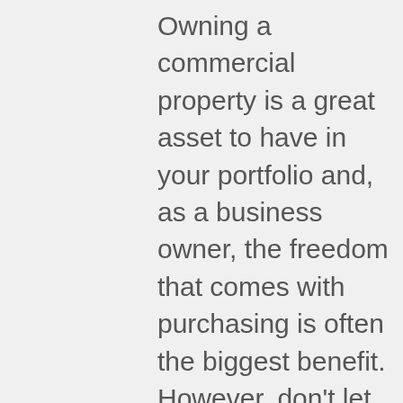Owning a commercial property is a great asset to have in your portfolio and, as a business owner, the freedom that comes with purchasing is often the biggest benefit. However, don't let the purchase of commercial space mean trouble for your business finances and make sure it aligns with your business plans. Purchasing is only a good idea if you have the plan and the capital in place to support it. For example, if you're planning to retire in the next 10 years, a mortgage is often amortized over 25 years. Will you still want to own a building after you've retired?